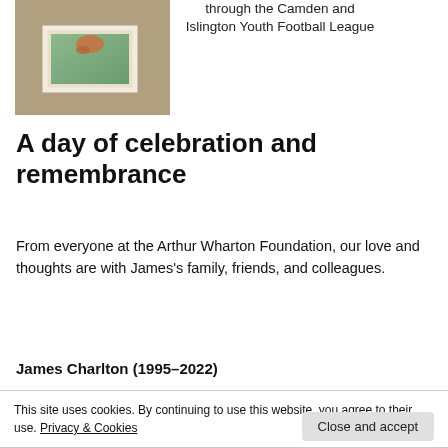[Figure (photo): Photo of a child's hands working on a framed painting or craft activity on the ground]
through the Camden and Islington Youth Football League
A day of celebration and remembrance
From everyone at the Arthur Wharton Foundation, our love and thoughts are with James's family, friends, and colleagues.
James Charlton (1995–2022)
This site uses cookies. By continuing to use this website, you agree to their use. Privacy & Cookies
Close and accept
CLICK